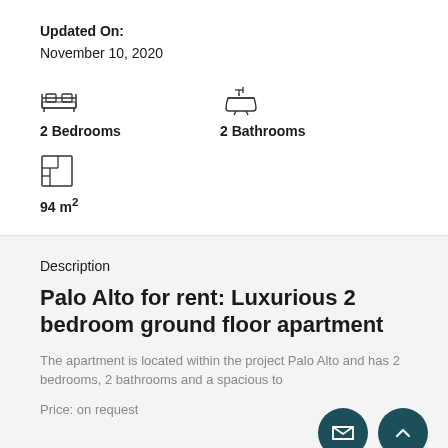Updated On:
November 10, 2020
2 Bedrooms
2 Bathrooms
94 m²
Description
Palo Alto for rent: Luxurious 2 bedroom ground floor apartment
The apartment is located within the project Palo Alto and has 2 bedrooms, 2 bathrooms and a spacious to
Price: on request